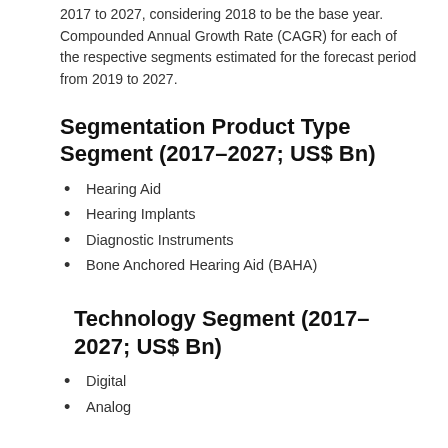2017 to 2027, considering 2018 to be the base year. Compounded Annual Growth Rate (CAGR) for each of the respective segments estimated for the forecast period from 2019 to 2027.
Segmentation Product Type Segment (2017–2027; US$ Bn)
Hearing Aid
Hearing Implants
Diagnostic Instruments
Bone Anchored Hearing Aid (BAHA)
Technology Segment (2017–2027; US$ Bn)
Digital
Analog
Sales Channel Segment (2017–2027;